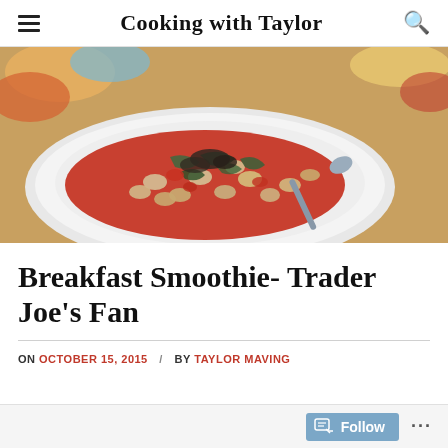Cooking with Taylor
[Figure (photo): A white bowl filled with bean and vegetable soup with tomato broth, garnished with greens, with a spoon resting in the bowl. Colorful tablecloth visible in background.]
Breakfast Smoothie- Trader Joe’s Fan
ON OCTOBER 15, 2015 / BY TAYLOR MAVING
Follow